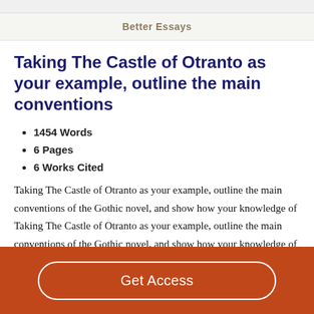Better Essays
Taking The Castle of Otranto as your example, outline the main conventions
1454 Words
6 Pages
6 Works Cited
Taking The Castle of Otranto as your example, outline the main conventions of the Gothic novel, and show how your knowledge of Taking The Castle of Otranto as your example, outline the main conventions of the Gothic novel, and show how your knowledge of these conventions affects your
Get Access